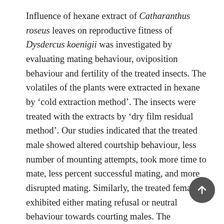Influence of hexane extract of Catharanthus roseus leaves on reproductive fitness of Dysdercus koenigii was investigated by evaluating mating behaviour, oviposition behaviour and fertility of the treated insects. The volatiles of the plants were extracted in hexane by 'cold extraction method'. The insects were treated with the extracts by 'dry film residual method'. Our studies indicated that the treated male showed altered courtship behaviour, less number of mounting attempts, took more time to mate, less percent successful mating, and more disrupted mating. Similarly, the treated female exhibited either mating refusal or neutral behaviour towards courting males. The maximum disruption in the mating was observed in a cross T♂ X T♀, where males and females were treated with Catharanthus extract. The Dysdercus treated with Catharanthus extracts also showed